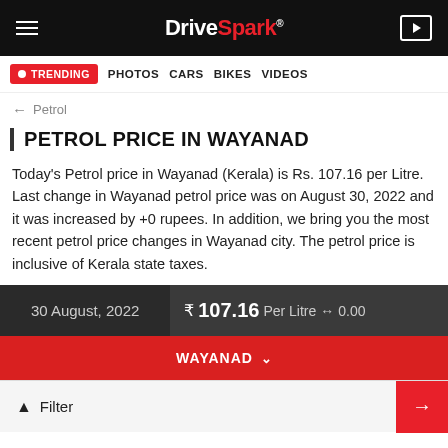DriveSpark
TRENDING  PHOTOS  CARS  BIKES  VIDEOS
← Petrol
PETROL PRICE IN WAYANAD
Today's Petrol price in Wayanad (Kerala) is Rs. 107.16 per Litre. Last change in Wayanad petrol price was on August 30, 2022 and it was increased by +0 rupees. In addition, we bring you the most recent petrol price changes in Wayanad city. The petrol price is inclusive of Kerala state taxes.
| Date | Price | Change |
| --- | --- | --- |
| 30 August, 2022 | ₹ 107.16 Per Litre | ↔ 0.00 |
WAYANAD ∨
Filter